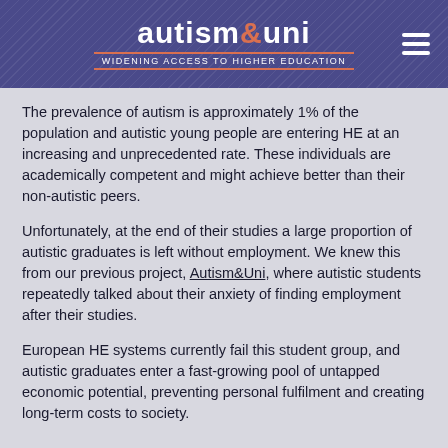autism&uni — Widening Access to Higher Education
The prevalence of autism is approximately 1% of the population and autistic young people are entering HE at an increasing and unprecedented rate. These individuals are academically competent and might achieve better than their non-autistic peers.
Unfortunately, at the end of their studies a large proportion of autistic graduates is left without employment. We knew this from our previous project, Autism&Uni, where autistic students repeatedly talked about their anxiety of finding employment after their studies.
European HE systems currently fail this student group, and autistic graduates enter a fast-growing pool of untapped economic potential, preventing personal fulfilment and creating long-term costs to society.